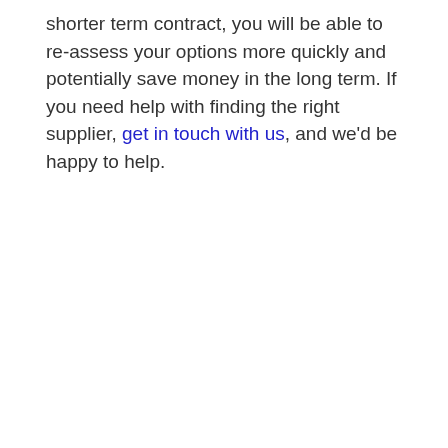shorter term contract, you will be able to re-assess your options more quickly and potentially save money in the long term. If you need help with finding the right supplier, get in touch with us, and we'd be happy to help.